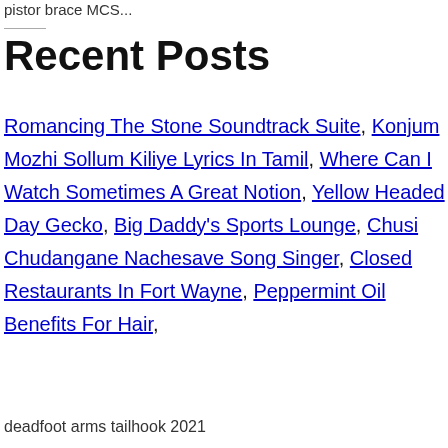pistor brace MCS...
Recent Posts
Romancing The Stone Soundtrack Suite, Konjum Mozhi Sollum Kiliye Lyrics In Tamil, Where Can I Watch Sometimes A Great Notion, Yellow Headed Day Gecko, Big Daddy's Sports Lounge, Chusi Chudangane Nachesave Song Singer, Closed Restaurants In Fort Wayne, Peppermint Oil Benefits For Hair,
deadfoot arms tailhook 2021